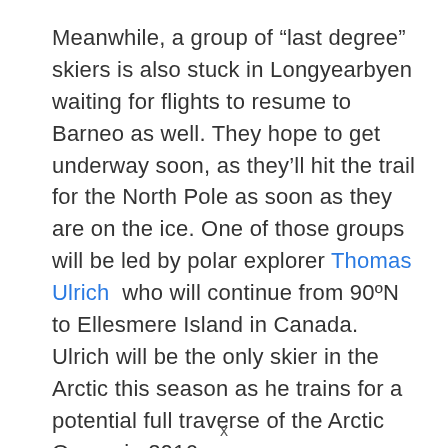Meanwhile, a group of “last degree” skiers is also stuck in Longyearbyen waiting for flights to resume to Barneo as well. They hope to get underway soon, as they’ll hit the trail for the North Pole as soon as they are on the ice. One of those groups will be led by polar explorer Thomas Ulrich  who will continue from 90ºN to Ellesmere Island in Canada. Ulrich will be the only skier in the Arctic this season as he trains for a potential full traverse of the Arctic Ocean in 2016.
x